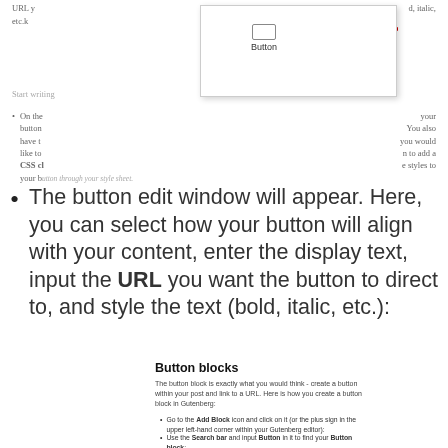[Figure (screenshot): Popup/tooltip overlay showing a Button block icon with a red arrow pointing to it, overlaid on partially visible text about URL, italic, CSS class, etc.]
On the ... your button ... You also have the ... you would like to ... to add a CSS class ... styles to your button through your style sheet.
The button edit window will appear. Here, you can select how your button will align with your content, enter the display text, input the URL you want the button to direct to, and style the text (bold, italic, etc.):
Button blocks
The button block is exactly what you would think - create a button within your post and link to a URL. Here is how you create a button block in Gutenberg:
Go to the Add Block icon and click on it (or the plus sign in the upper left-hand corner within your Gutenberg editor):
Use the Search bar and input Button in it to find your Button block;
Start writing or type / to choose a block
The button edit window will appear. Here, you can select how your button will align with your content, enter the display text, input the URL...